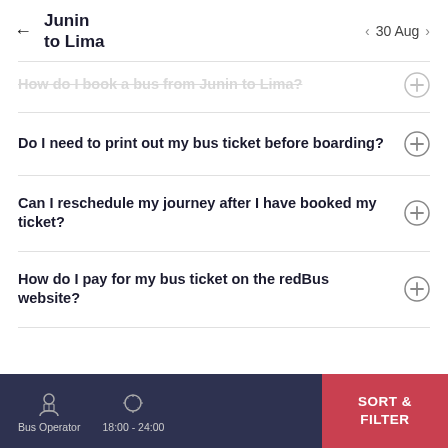Junin to Lima — 30 Aug
How do I book a bus from Junin to Lima?
Do I need to print out my bus ticket before boarding?
Can I reschedule my journey after I have booked my ticket?
How do I pay for my bus ticket on the redBus website?
Bus Operator   18:00 - 24:00   SORT & FILTER